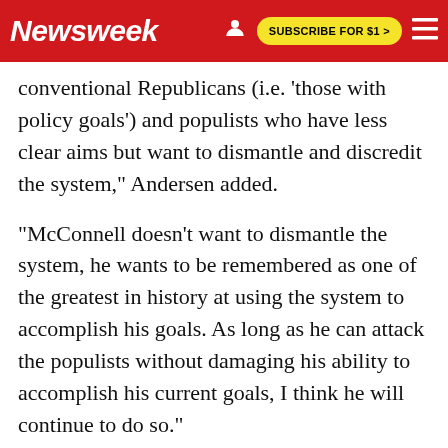Newsweek | SUBSCRIBE FOR $1 >
conventional Republicans (i.e. 'those with policy goals') and populists who have less clear aims but want to dismantle and discredit the system," Andersen added.
"McConnell doesn't want to dismantle the system, he wants to be remembered as one of the greatest in history at using the system to accomplish his goals. As long as he can attack the populists without damaging his ability to accomplish his current goals, I think he will continue to do so."